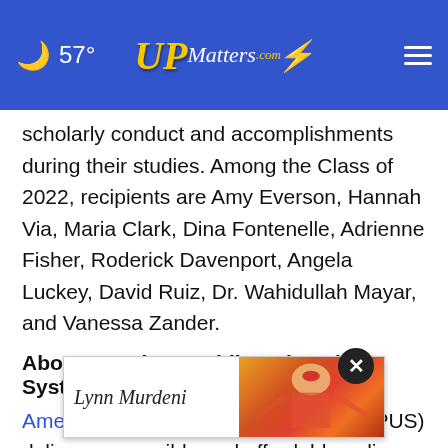57° UPMatters.com
scholarly conduct and accomplishments during their studies. Among the Class of 2022, recipients are Amy Everson, Hannah Via, Maria Clark, Dina Fontenelle, Adrienne Fisher, Roderick Davenport, Angela Luckey, David Ruiz, Dr. Wahidullah Mayar, and Vanessa Zander.
About American Public University System
American Public University System (APUS) delivers accessible and affordable online higher education and hands. APUS, a five-time recipient of Online Learning
[Figure (other): Advertisement overlay with a signature reading 'Lynn Murdeni' on white background and a colorful painting of a woman on the right side, with a close button (X) overlaid]